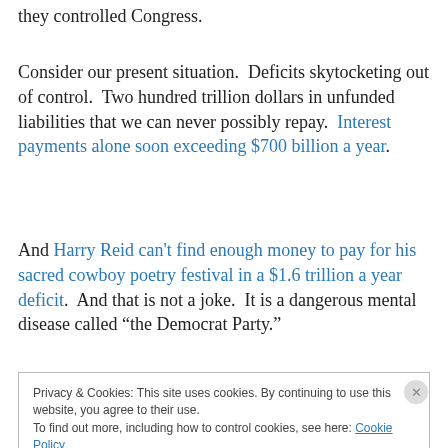they controlled Congress.
Consider our present situation.  Deficits skytocketing out of control.  Two hundred trillion dollars in unfunded liabilities that we can never possibly repay.  Interest payments alone soon exceeding $700 billion a year.
And Harry Reid can't find enough money to pay for his sacred cowboy poetry festival in a $1.6 trillion a year deficit.  And that is not a joke.  It is a dangerous mental disease called “the Democrat Party.”
Privacy & Cookies: This site uses cookies. By continuing to use this website, you agree to their use.
To find out more, including how to control cookies, see here: Cookie Policy
Close and accept